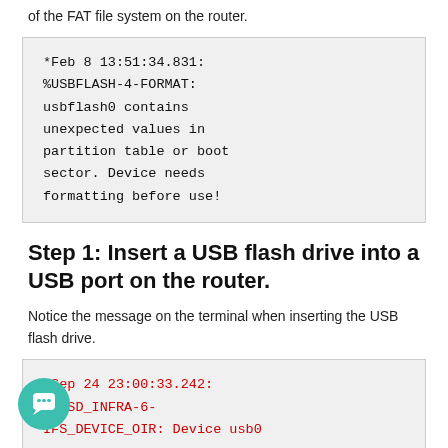of the FAT file system on the router.
*Feb 8 13:51:34.831: %USBFLASH-4-FORMAT: usbflash0 contains unexpected values in partition table or boot sector. Device needs formatting before use!
Step 1: Insert a USB flash drive into a USB port on the router.
Notice the message on the terminal when inserting the USB flash drive.
*Sep 24 23:00:33.242: %IOSD_INFRA-6-IFS_DEVICE_OIR: Device usb0